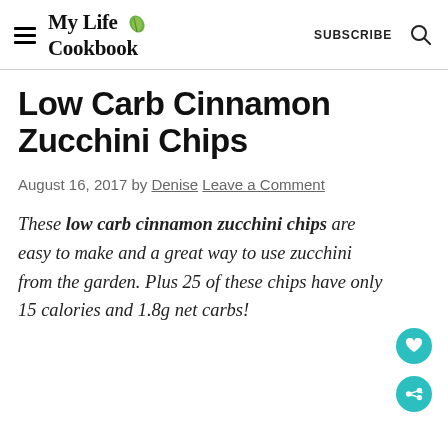My Life Cookbook — SUBSCRIBE
Low Carb Cinnamon Zucchini Chips
August 16, 2017 by Denise Leave a Comment
These low carb cinnamon zucchini chips are easy to make and a great way to use zucchini from the garden. Plus 25 of these chips have only 15 calories and 1.8g net carbs!